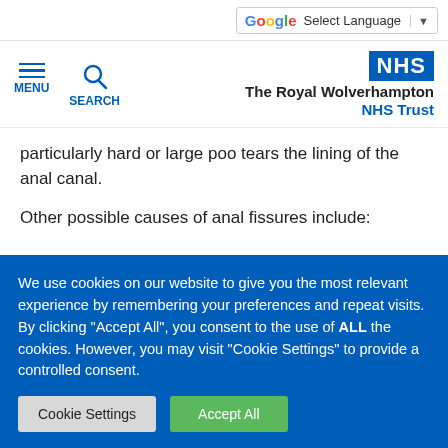Select Language
[Figure (logo): NHS logo and The Royal Wolverhampton NHS Trust branding with menu and search navigation]
particularly hard or large poo tears the lining of the anal canal.
Other possible causes of anal fissures include:
persistent diarrhoea
We use cookies on our website to give you the most relevant experience by remembering your preferences and repeat visits. By clicking "Accept All", you consent to the use of ALL the cookies. However, you may visit "Cookie Settings" to provide a controlled consent.